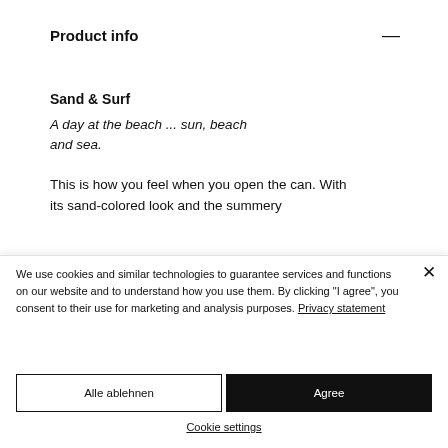Product info —
Sand & Surf
A day at the beach ... sun, beach and sea.
This is how you feel when you open the can. With its sand-colored look and the summery
We use cookies and similar technologies to guarantee services and functions on our website and to understand how you use them. By clicking "I agree", you consent to their use for marketing and analysis purposes. Privacy statement
Alle ablehnen
Agree
Cookie settings